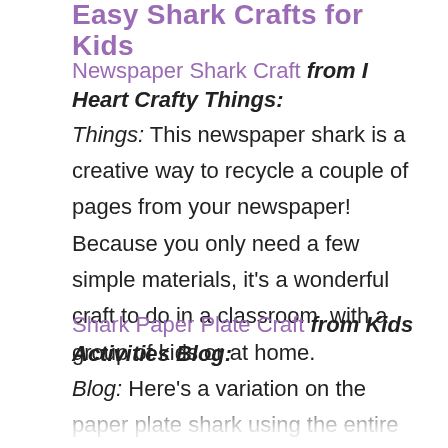Easy Shark Crafts for Kids
Newspaper Shark Craft from I Heart Crafty Things: This newspaper shark is a creative way to recycle a couple of pages from your newspaper! Because you only need a few simple materials, it's a wonderful craft to do in a classroom, with a group of kids or at home.
Shark Paper Plate Craft from Kids Activities Blog: Here's a variation on the paper plate shark using the entire plate (almost) as the shark's body. The fins and teeth are made with paper plate pieces as well, but you could also